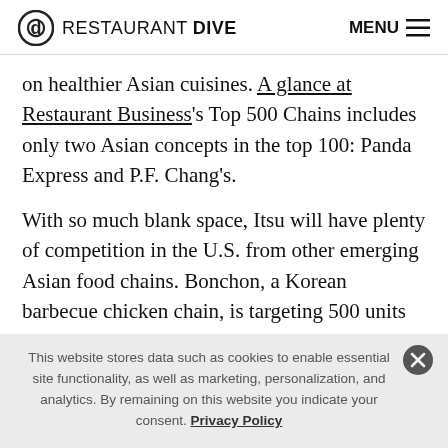RESTAURANT DIVE — MENU
on healthier Asian cuisines. A glance at Restaurant Business's Top 500 Chains includes only two Asian concepts in the top 100: Panda Express and P.F. Chang's.
With so much blank space, Itsu will have plenty of competition in the U.S. from other emerging Asian food chains. Bonchon, a Korean barbecue chicken chain, is targeting 500 units in the U.S. by 2026 while its CEO Flynn Dekker said during the ICR conference last week
This website stores data such as cookies to enable essential site functionality, as well as marketing, personalization, and analytics. By remaining on this website you indicate your consent. Privacy Policy